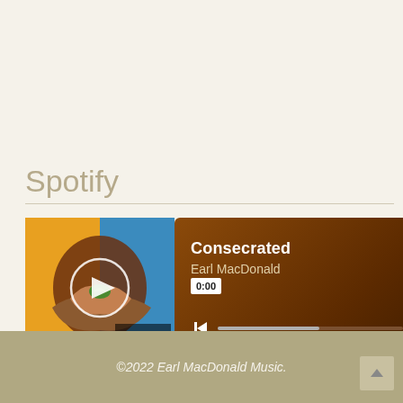Spotify
[Figure (screenshot): Spotify embedded music player showing the track 'Consecrated' by Earl MacDonald, with album art on the left (hands holding something, blue/orange/brown colors, text EARL MACDONALD CONSECRATED), a brown-gradient player panel with track title, artist name, time badge showing 0:00, playback controls (previous, progress bar, next), share icon, and Spotify logo.]
©2022 Earl MacDonald Music.